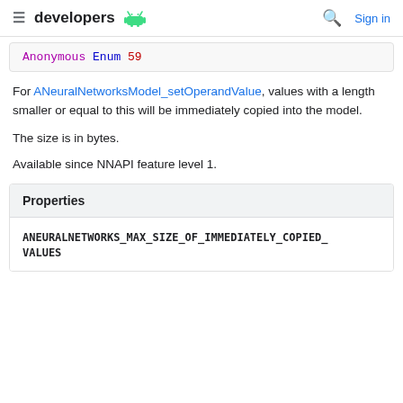developers
Anonymous Enum 59
For ANeuralNetworksModel_setOperandValue, values with a length smaller or equal to this will be immediately copied into the model.
The size is in bytes.
Available since NNAPI feature level 1.
Properties
ANEURALNETWORKS_MAX_SIZE_OF_IMMEDIATELY_COPIED_VALUES